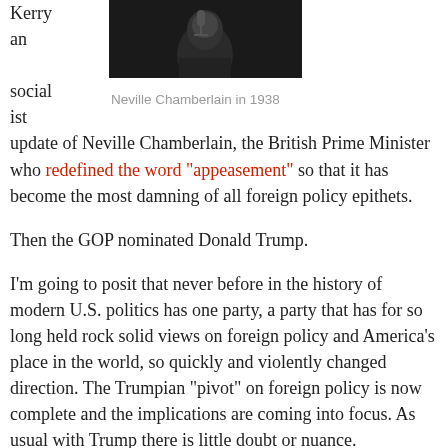Kerry an socialist
[Figure (photo): Black and white photograph of Neville Chamberlain in 1938, showing a man at a microphone.]
Neville Chamberlain in 1938
update of Neville Chamberlain, the British Prime Minister who redefined the word “appeasement” so that it has become the most damning of all foreign policy epithets.
Then the GOP nominated Donald Trump.
I’m going to posit that never before in the history of modern U.S. politics has one party, a party that has for so long held rock solid views on foreign policy and America’s place in the world, so quickly and violently changed direction. The Trumpian “pivot” on foreign policy is now complete and the implications are coming into focus. As usual with Trump there is little doubt or nuance.
The Republican presidential candidate detailed for the New